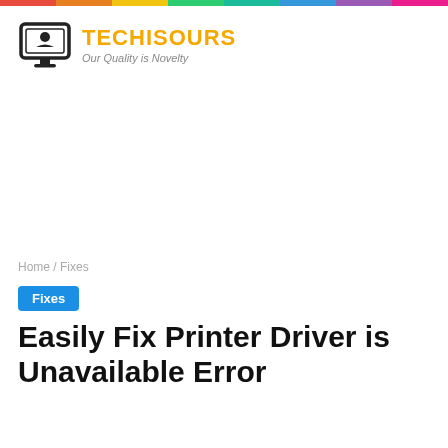[Figure (logo): Techisours website logo with monitor icon, orange brand name TECHISOURS and tagline Our Quality is Novelty]
Home / Fixes
Fixes
Easily Fix Printer Driver is Unavailable Error